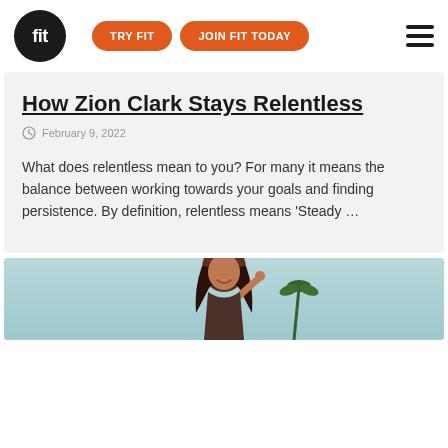fit | TRY FIT | JOIN FIT TODAY
How Zion Clark Stays Relentless
February 9, 2022
What does relentless mean to you? For many it means the balance between working towards your goals and finding persistence. By definition, relentless means ‘Steady …
[Figure (photo): Partial view of a woman with long dark hair, smiling and raising her hand, against a light blue sky background with palm trees]